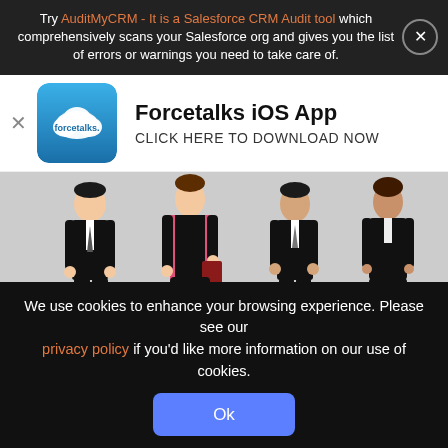Try AuditMyCRM - It is a Salesforce CRM Audit tool which comprehensively scans your Salesforce org and gives you the list of errors or warnings you need to take care of.
[Figure (logo): Forcetalks app logo - blue cloud with 'forcetalks.' text]
Forcetalks iOS App
CLICK HERE TO DOWNLOAD NOW
[Figure (illustration): Four business professionals in formal attire standing - two men and two women on grey background]
Top 10 Job Profiles for Salesforce Certified Professionals
We use cookies to enhance your browsing experience. Please see our privacy policy if you'd like more information on our use of cookies.
Ok